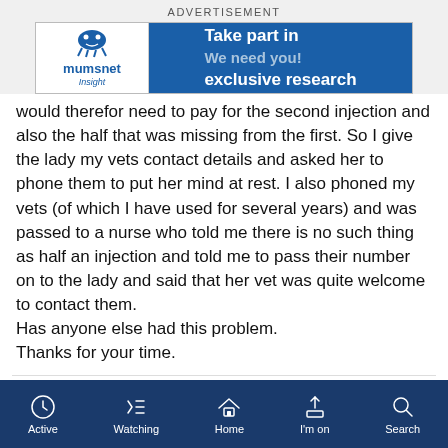ADVERTISEMENT
[Figure (other): Mumsnet Insight advertisement banner: white left panel with mumsnet logo and 'insight' text, blue right panel with text 'Take part in We need you! exclusive research']
would therefor need to pay for the second injection and also the half that was missing from the first. So I give the lady my vets contact details and asked her to phone them to put her mind at rest. I also phoned my vets (of which I have used for several years) and was passed to a nurse who told me there is no such thing as half an injection and told me to pass their number on to the lady and said that her vet was quite welcome to contact them.
Has anyone else had this problem.
Thanks for your time.
Active  Watching  Home  I'm on  Search